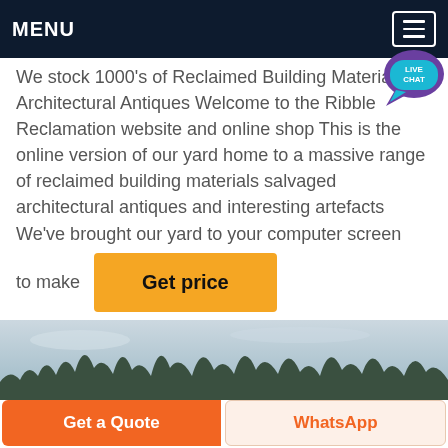MENU
We stock 1000's of Reclaimed Building Materials Architectural Antiques Welcome to the Ribble Reclamation website and online shop This is the online version of our yard home to a massive range of reclaimed building materials salvaged architectural antiques and interesting artefacts We've brought our yard to your computer screen
to make
[Figure (other): Get price button - yellow/orange rectangular button with bold text 'Get price']
[Figure (photo): Outdoor photo showing a wide sky with overcast conditions and a treeline silhouette at the bottom]
Get a Quote
WhatsApp